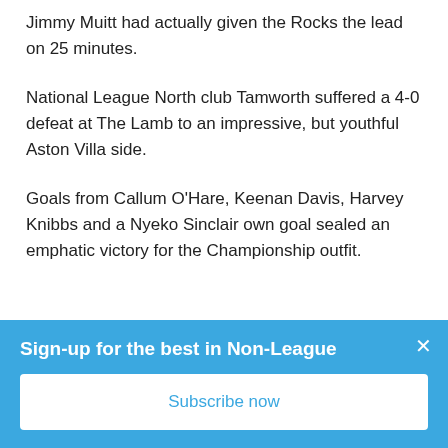Jimmy Muitt had actually given the Rocks the lead on 25 minutes.
National League North club Tamworth suffered a 4-0 defeat at The Lamb to an impressive, but youthful Aston Villa side.
Goals from Callum O'Hare, Keenan Davis, Harvey Knibbs and a Nyeko Sinclair own goal sealed an emphatic victory for the Championship outfit.
Sign-up for the best in Non-League
Subscribe now